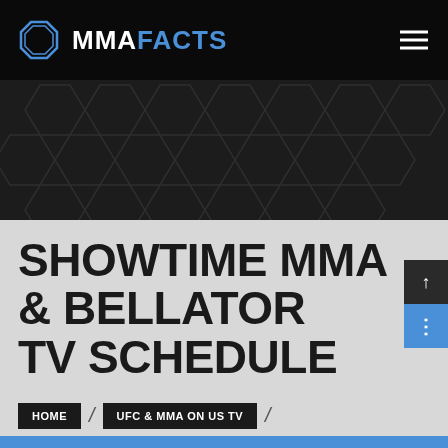MMAFACTS
[Figure (illustration): Dark hexagonal pattern banner background]
SHOWTIME MMA & BELLATOR TV SCHEDULE
HOME
UFC & MMA ON US TV
SHOWTIME MMA & BELLATOR TV SCHEDULE